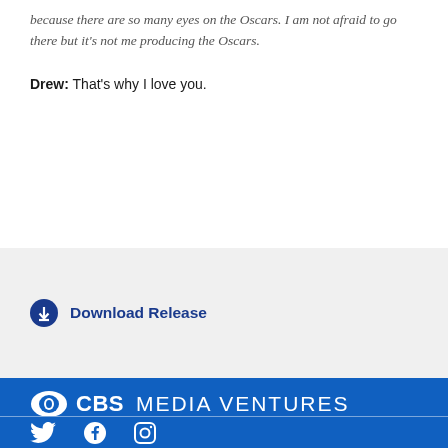because there are so many eyes on the Oscars. I am not afraid to go there but it’s not me producing the Oscars.
Drew: That’s why I love you.
Download Release
[Figure (logo): CBS Media Ventures logo with CBS eye icon, white text on blue background]
[Figure (other): Social media icons: Twitter bird, Facebook f, Instagram camera — white icons on blue background]